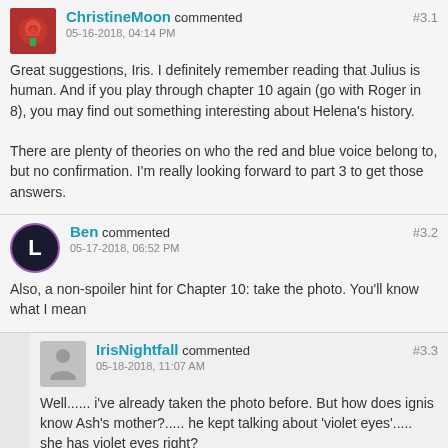ChristineMoon commented #3.1
05-16-2018, 04:14 PM

Great suggestions, Iris. I definitely remember reading that Julius is human. And if you play through chapter 10 again (go with Roger in 8), you may find out something interesting about Helena's history.

There are plenty of theories on who the red and blue voice belong to, but no confirmation. I'm really looking forward to part 3 to get those answers.
Ben commented #3.2
05-17-2018, 06:52 PM

Also, a non-spoiler hint for Chapter 10: take the photo. You'll know what I mean
IrisNightfall commented #3.3
05-18-2018, 11:07 AM

Well...... i've already taken the photo before. But how does ignis know Ash's mother?..... he kept talking about 'violet eyes'..... she has violet eyes right?
Darn it, i can't remember! ☹